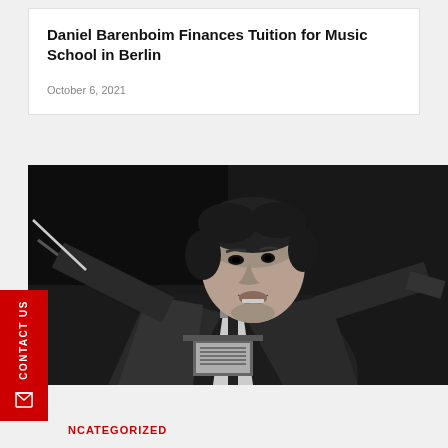Daniel Barenboim Finances Tuition for Music School in Berlin
October 6, 2021
[Figure (photo): Black and white photograph of a male conductor with a baton, leaning forward intently, wearing a dark blazer.]
CONTACT US
NCATEGORIZED